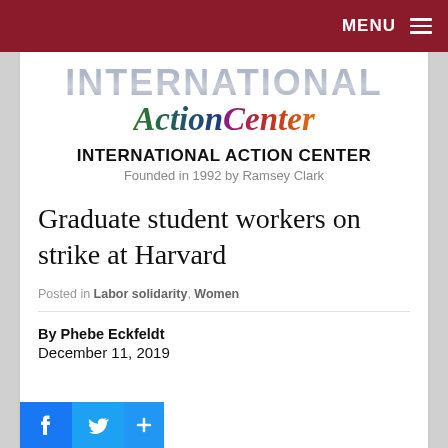MENU
[Figure (logo): International Action Center logo with large italic 'Action Center' text in multicolor gradient below large gray 'INTERNATIONAL' text]
INTERNATIONAL ACTION CENTER
Founded in 1992 by Ramsey Clark
Graduate student workers on strike at Harvard
Posted in Labor solidarity, Women
By Phebe Eckfeldt
December 11, 2019